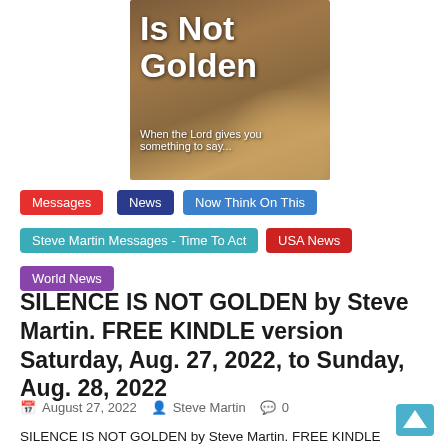[Figure (photo): Book cover for 'Silence Is Not Golden' showing lions in background with text 'Is Not Golden' and subtitle 'When the Lord gives you something to say...']
Messages
News
Now Think On This
Steve Martin Messages - Time To Act
USA News
World News
SILENCE IS NOT GOLDEN by Steve Martin. FREE KINDLE version Saturday, Aug. 27, 2022, to Sunday, Aug. 28, 2022
August 27, 2022   Steve Martin   0
SILENCE IS NOT GOLDEN by Steve Martin. FREE KINDLE